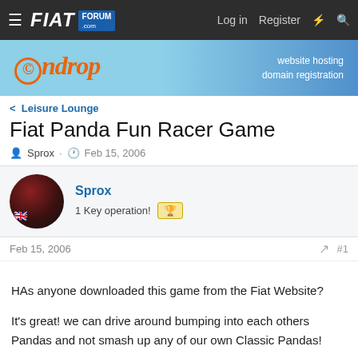≡  FIAT FORUM .com   Log in   Register  ⚡  🔍
[Figure (photo): Endrop website hosting and domain registration advertisement banner]
< Leisure Lounge
Fiat Panda Fun Racer Game
Sprox · Feb 15, 2006
Sprox
1 Key operation! 🏆
Feb 15, 2006  #1
HAs anyone downloaded this game from the Fiat Website?

It's great! we can drive around bumping into each others Pandas and not smash up any of our own Classic Pandas!

Get it! Get it! Get it!